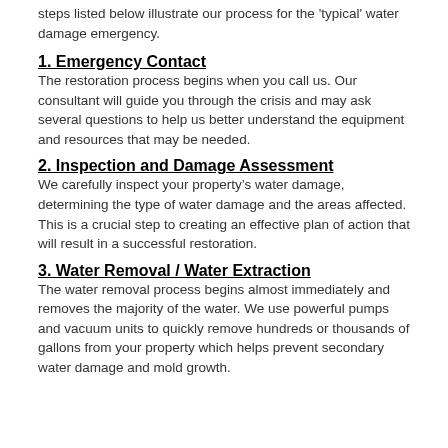steps listed below illustrate our process for the 'typical' water damage emergency.
1.  Emergency Contact
The restoration process begins when you call us. Our consultant will guide you through the crisis and may ask several questions to help us better understand the equipment and resources that may be needed.
2. Inspection and Damage Assessment
We carefully inspect your property’s water damage, determining the type of water damage and the areas affected. This is a crucial step to creating an effective plan of action that will result in a successful restoration.
3. Water Removal / Water Extraction
The water removal process begins almost immediately and removes the majority of the water. We use powerful pumps and vacuum units to quickly remove hundreds or thousands of gallons from your property which helps prevent secondary water damage and mold growth.